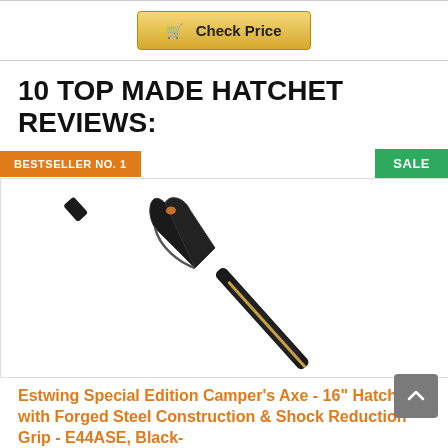[Figure (other): Check Price button with shopping cart icon, gold/yellow gradient background with dark border]
10 TOP MADE HATCHET REVIEWS:
BESTSELLER NO. 1
SALE
[Figure (photo): Black hatchet/axe (Estwing Special Edition Camper's Axe) with forged steel construction and shock reduction grip, shown diagonally on white background]
Estwing Special Edition Camper's Axe - 16" Hatchet with Forged Steel Construction & Shock Reduction Grip - E44ASE, Black-